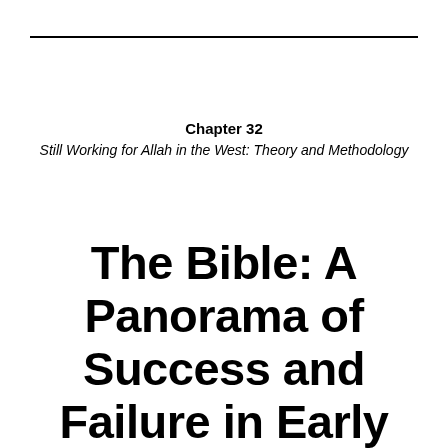Chapter 32
Still Working for Allah in the West: Theory and Methodology
The Bible: A Panorama of Success and Failure in Early Islam